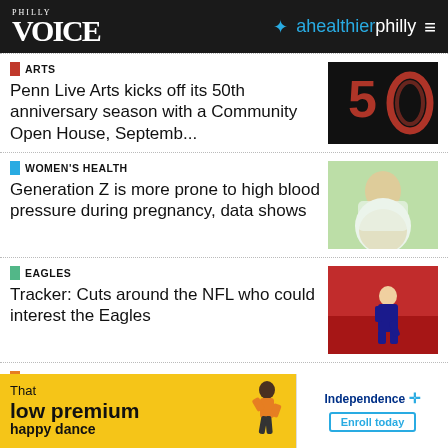PHILLY VOICE | ahealthierphilly
ARTS
Penn Live Arts kicks off its 50th anniversary season with a Community Open House, Septemb...
[Figure (photo): Red ribbon or paint forming the number 50 on a black background]
WOMEN'S HEALTH
Generation Z is more prone to high blood pressure during pregnancy, data shows
[Figure (photo): Pregnant woman holding her belly outdoors]
EAGLES
Tracker: Cuts around the NFL who could interest the Eagles
[Figure (photo): NFL football player running on field during game]
MUSIC
Taylor Swift albu...
[Figure (photo): Concert or music performance photo]
[Figure (infographic): Advertisement: That low premium happy dance - Independence Blue Cross - Enroll today]